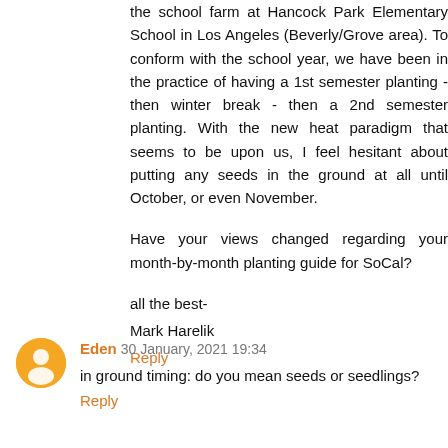the school farm at Hancock Park Elementary School in Los Angeles (Beverly/Grove area). To conform with the school year, we have been in the practice of having a 1st semester planting - then winter break - then a 2nd semester planting. With the new heat paradigm that seems to be upon us, I feel hesitant about putting any seeds in the ground at all until October, or even November.
Have your views changed regarding your month-by-month planting guide for SoCal?
all the best-
Mark Harelik
Reply
[Figure (illustration): Orange circular avatar icon with blogger/person silhouette symbol for user Eden]
Eden 30 January, 2021 19:34
in ground timing: do you mean seeds or seedlings?
Reply